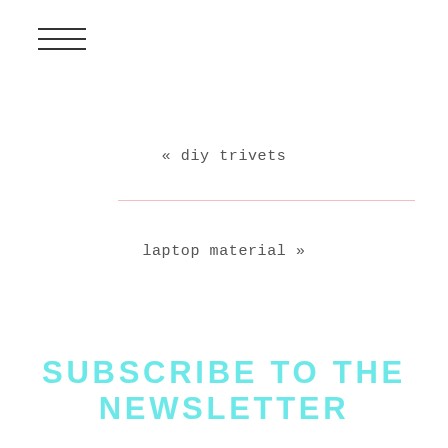[Figure (other): Hamburger menu icon with three horizontal lines]
« diy trivets
laptop material »
SUBSCRIBE TO THE NEWSLETTER